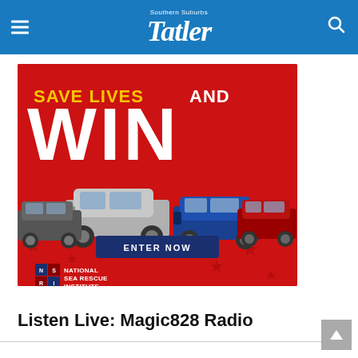Southern Suburbs Tatler
[Figure (illustration): Advertisement for National Sea Rescue Institute competition: red background with cars (Mitsubishi SUVs - silver, blue, red), text 'SAVE LIVES AND WIN', 'ENTER NOW' button, NSRI logo]
Listen Live: Magic828 Radio